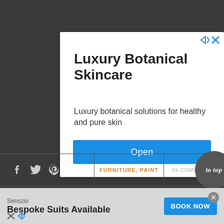[Figure (screenshot): Advertisement card for Luxury Botanical Skincare by Monastery Made with an Open button]
Luxury Botanical Skincare
Luxury botanical solutions for healthy and pure skin
Monastery Made
Open
f  Twitter  Pinterest  |  FURNITURE, PAINT  |  29 COMMENTS:  to top
[Figure (screenshot): Bottom banner ad for Senszio Bespoke Suits Available with BOOK NOW button]